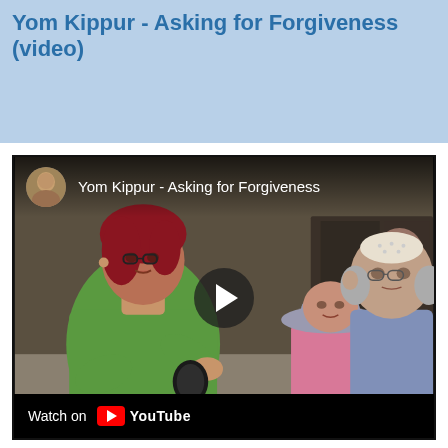Yom Kippur - Asking for Forgiveness (video)
[Figure (screenshot): YouTube video thumbnail showing a woman in a green shirt speaking to an older man wearing a kippah, with a microphone between them, and a woman in a pink shirt and hat in the background. The video overlay shows a play button in the center and the title 'Yom Kippur - Asking for Forgiveness' at the top with a user avatar. The bottom bar reads 'Watch on YouTube'.]